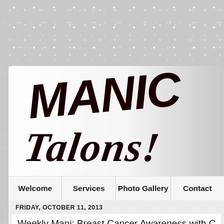[Figure (logo): Manic Talons! logo in black brush-script lettering on white/silver gradient background]
Welcome   Services   Photo Gallery   Contact
FRIDAY, OCTOBER 11, 2013
Weekly Mani: Breast Cancer Awareness with C
Labels: Breast Cancer Awareness, Couture, Nail Art
Purchased by Me